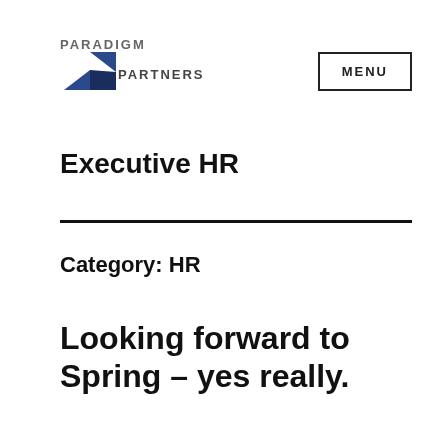[Figure (logo): Paradigm Partners logo with blue diamond/arrow shape and text PARADIGM PARTNERS]
Executive HR
Category: HR
Looking forward to Spring – yes really.